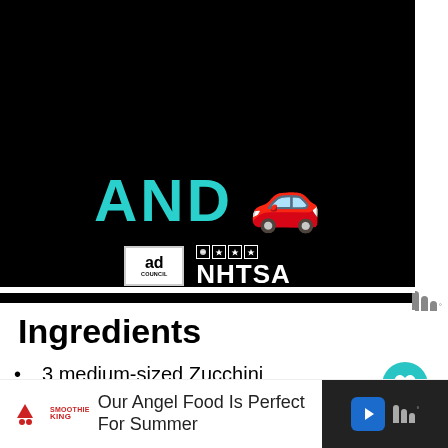[Figure (screenshot): Ad Council and NHTSA advertisement banner on black background showing 'AND' text in teal and a red car emoji, with Ad Council and NHTSA logos]
Ingredients
3 medium-sized Zucchini
2 ears of Corn
1 teaspoon Butter
1/2 cup All-Purpose Flour
1/2 cup grated Pecorino Romano
[Figure (screenshot): Bottom advertisement banner for Smoothie King: 'Our Angel Food Is Perfect For Summer' with navigation icon, on dark right panel with wordmark]